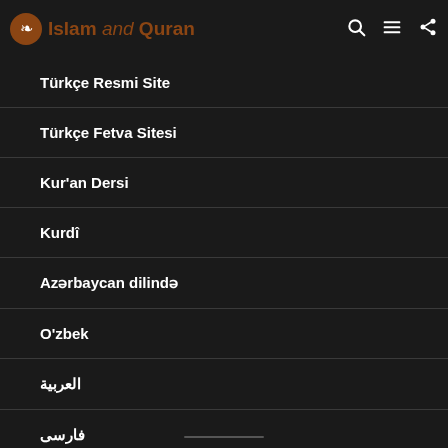Islam and Quran
Türkçe Resmi Site
Türkçe Fetva Sitesi
Kur'an Dersi
Kurdî
Azərbaycan dilində
O'zbek
العربية
فارسی
ئۇيغۇرچە